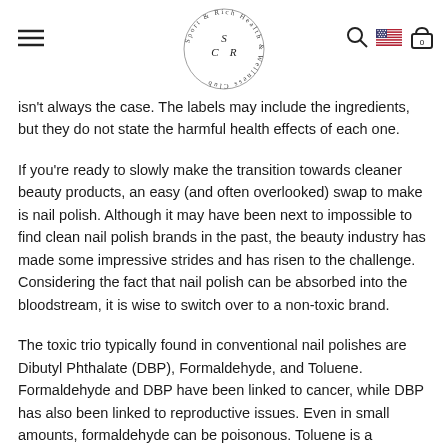Sport & Rich Health & Wellness Club — SCR logo with navigation icons
isn't always the case. The labels may include the ingredients, but they do not state the harmful health effects of each one.
If you're ready to slowly make the transition towards cleaner beauty products, an easy (and often overlooked) swap to make is nail polish. Although it may have been next to impossible to find clean nail polish brands in the past, the beauty industry has made some impressive strides and has risen to the challenge. Considering the fact that nail polish can be absorbed into the bloodstream, it is wise to switch over to a non-toxic brand.
The toxic trio typically found in conventional nail polishes are Dibutyl Phthalate (DBP), Formaldehyde, and Toluene. Formaldehyde and DBP have been linked to cancer, while DBP has also been linked to reproductive issues. Even in small amounts, formaldehyde can be poisonous. Toluene is a petroleum derived chemical that is harmful to